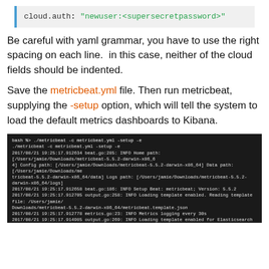[Figure (screenshot): Code block showing: cloud.auth: "newuser:<supersecretpassword>"]
Be careful with yaml grammar, you have to use the right spacing on each line.  in this case, neither of the cloud fields should be indented.
Save the metricbeat.yml file. Then run metricbeat, supplying the -setup option, which will tell the system to load the default metrics dashboards to Kibana.
[Figure (screenshot): Terminal screenshot showing metricbeat setup command output with INFO logs from 2017/08/21 19:25:17 including Home path, Config path, Data path, Logs path, Setup Beat version 5.5.2, template loading, Elasticsearch URL, outputs activation, publisher name, and Flush Interval settings.]